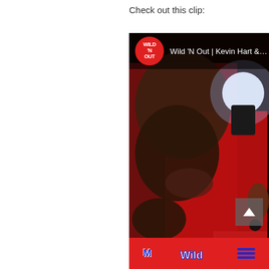Check out this clip:
[Figure (screenshot): Embedded video player showing Wild 'N Out clip featuring Kevin Hart & Fabolous. Video thumbnail shows performers on a red-lit stage. Header overlay shows Wild 'N Out logo (red circle) and title 'Wild 'N Out | Kevin Hart & Fabolous Sa'. A scroll-up arrow button is shown in the lower right of the video. Below the video is a red banner with logos.]